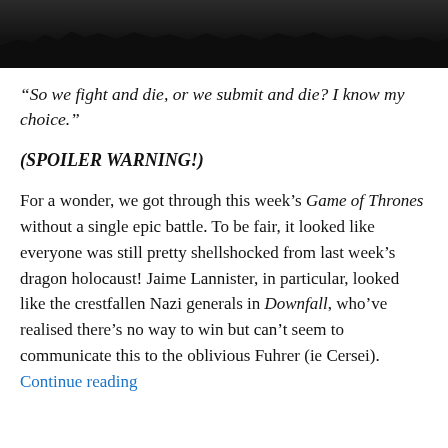[Figure (photo): Dark silhouette image showing figures against a dark background, partially cropped at top of page]
“So we fight and die, or we submit and die? I know my choice.”
(SPOILER WARNING!)
For a wonder, we got through this week’s Game of Thrones without a single epic battle. To be fair, it looked like everyone was still pretty shellshocked from last week’s dragon holocaust! Jaime Lannister, in particular, looked like the crestfallen Nazi generals in Downfall, who’ve realised there’s no way to win but can’t seem to communicate this to the oblivious Fuhrer (ie Cersei). Continue reading